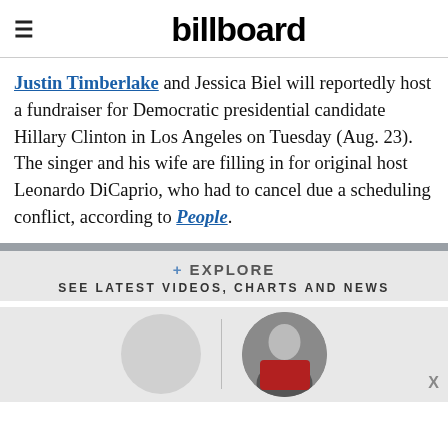billboard
Justin Timberlake and Jessica Biel will reportedly host a fundraiser for Democratic presidential candidate Hillary Clinton in Los Angeles on Tuesday (Aug. 23). The singer and his wife are filling in for original host Leonardo DiCaprio, who had to cancel due a scheduling conflict, according to People.
+ EXPLORE
SEE LATEST VIDEOS, CHARTS AND NEWS
[Figure (photo): Explore section with two circular profile images - one gray placeholder on the left and one photo of Justin Timberlake on the right, separated by a vertical divider line.]